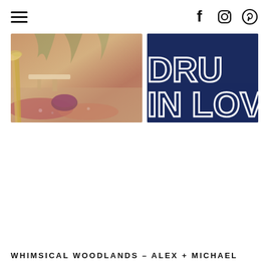☰  f  Instagram  Pinterest
[Figure (photo): Outdoor wedding reception setup with boho decor, wicker furniture, dried pampas grass, hanging greenery, and colorful rugs on the ground]
[Figure (photo): Dark navy blue fabric or sign with white 3D letters spelling 'DRUNK IN LOVE']
WHIMSICAL WOODLANDS – ALEX + MICHAEL